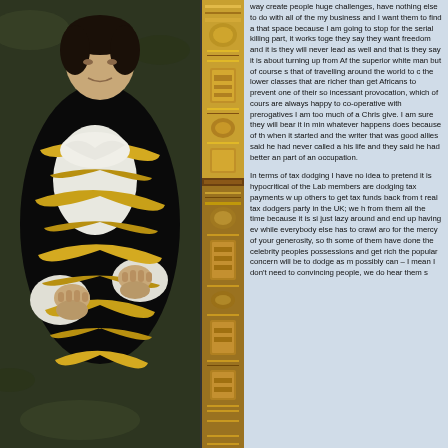[Figure (photo): Person wearing a black and gold/yellow traditional costume with white shirt, lying down on grass, photographed from above. The costume has distinctive yellow/gold stripe patterns on black fabric.]
[Figure (photo): Close-up of gold/bronze decorative objects or book spines with ornate patterns, serving as a vertical divider strip between the photo and text columns.]
way create people huge challenges, have nothing else to do with all of the my business and I want them to find a that space because I am going to stop for the serial killing part, it works toge they say they want freedom and it is they will never lead as well and that is they say it is about turning up from Af the superior white man but of course s that of travelling around the world to c the lower classes that are richer than get Africans to prevent one of their so incessant provocation, which of cours are always happy to co-operative with prerogatives I am too much of a Chris give. I am sure they will bear it in min whatever happens does because of th when it started and the writer that was good allies said he had never called a his life and they said he had better an part of an occupation.

In terms of tax dodging I have no idea to pretend it is hypocritical of the Lab members are dodging tax payments w up others to get tax funds back from t real tax dodgers party in the UK; we h from them all the time because it is si just lazy around and end up having ev while everybody else has to crawl aro for the mercy of your generosity, so th some of them have done the celebrity peoples possessions and get rich the popular concern will be to dodge as m possibly can – I mean I don't need to convincing people, we do hear them s